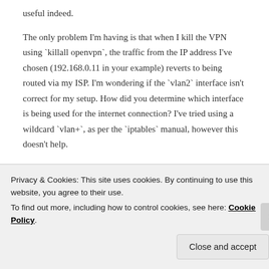useful indeed.
The only problem I'm having is that when I kill the VPN using `killall openvpn`, the traffic from the IP address I've chosen (192.168.0.11 in your example) reverts to being routed via my ISP. I'm wondering if the `vlan2` interface isn't correct for my setup. How did you determine which interface is being used for the internet connection? I've tried using a wildcard `vlan+`, as per the `iptables` manual, however this doesn't help.
Reply
Privacy & Cookies: This site uses cookies. By continuing to use this website, you agree to their use.
To find out more, including how to control cookies, see here: Cookie Policy
Close and accept